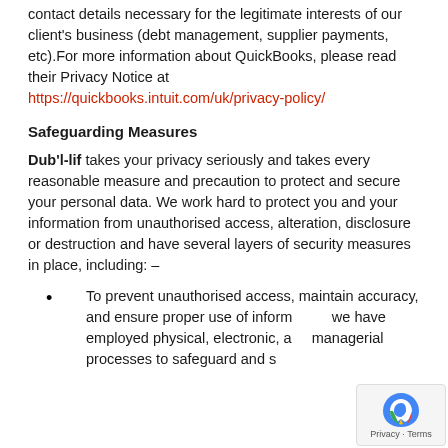contact details necessary for the legitimate interests of our client's business (debt management, supplier payments, etc).For more information about QuickBooks, please read their Privacy Notice at https://quickbooks.intuit.com/uk/privacy-policy/
Safeguarding Measures
Dub'l-lif takes your privacy seriously and takes every reasonable measure and precaution to protect and secure your personal data. We work hard to protect you and your information from unauthorised access, alteration, disclosure or destruction and have several layers of security measures in place, including: –
To prevent unauthorised access, maintain accuracy, and ensure proper use of information, we have employed physical, electronic, and managerial processes to safeguard and secure